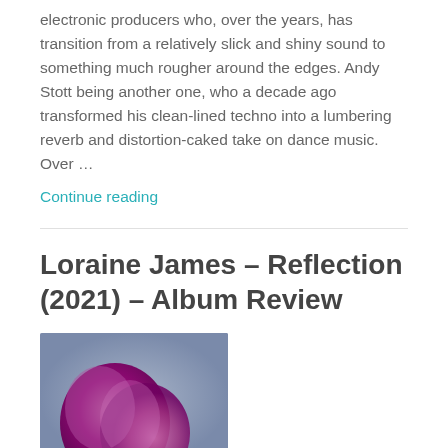electronic producers who, over the years, has transition from a relatively slick and shiny sound to something much rougher around the edges. Andy Stott being another one, who a decade ago transformed his clean-lined techno into a lumbering reverb and distortion-caked take on dance music. Over …
Continue reading
Loraine James – Reflection (2021) – Album Review
[Figure (photo): Abstract purple/magenta sculptural or organic form against a grey background]